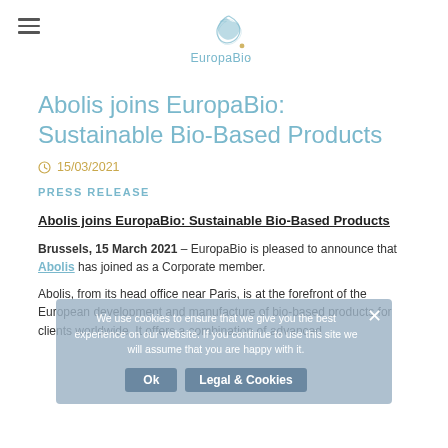EuropaBio [logo]
Abolis joins EuropaBio: Sustainable Bio-Based Products
15/03/2021
PRESS RELEASE
Abolis joins EuropaBio: Sustainable Bio-Based Products
Brussels, 15 March 2021 – EuropaBio is pleased to announce that Abolis has joined as a Corporate member.
Abolis, from its head office near Paris, is at the forefront of the European development and manufacture of bio-based products for clients worldwide. It offers a combination of advanced
We use cookies to ensure that we give you the best experience on our website. If you continue to use this site we will assume that you are happy with it.